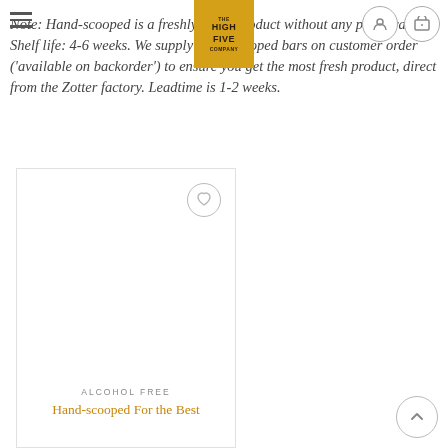The High Five Company — navigation header with logo
Note: Hand-scooped is a freshly made product without any preservatives. Shelf life: 4-6 weeks. We supply hand-scooped bars on customer order ('available on backorder') to ensure you get the most fresh product, direct from the Zotter factory. Leadtime is 1-2 weeks.
[Figure (photo): Product card with wishlist heart icon button, empty product image area, ALCOHOL FREE category label, and product title starting with 'Hand-scooped For the Best']
ALCOHOL FREE — Hand-scooped For the Best